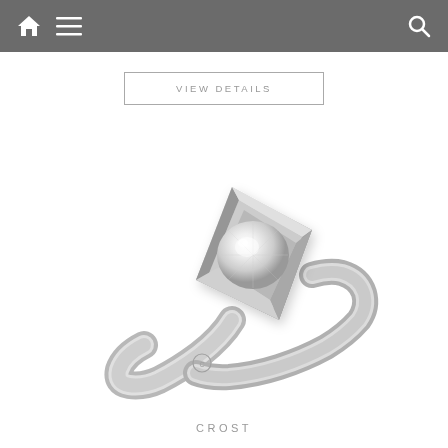Navigation bar with home icon, menu icon, and search icon
VIEW DETAILS
[Figure (photo): A white gold engagement ring called CROST with a diamond set in a geometric kite-shaped tension setting on a bypass-style band, photographed on a white background.]
CROST